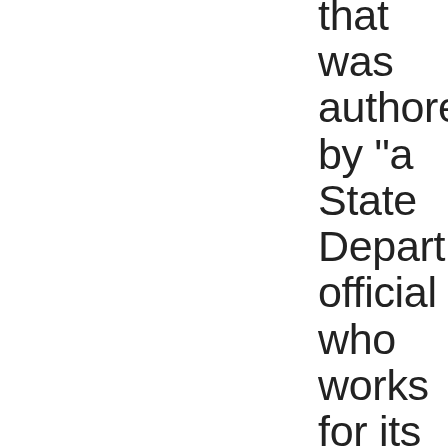that was authored by "a State Department official who works for its Bureau of Intelligence and Research. The Post story was attributed to "a senior administration official